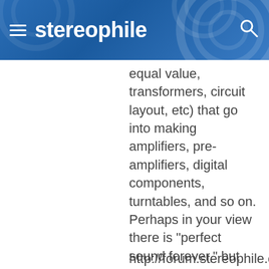stereophile
equal value, transformers, circuit layout, etc) that go into making amplifiers, pre-amplifiers, digital components, turntables, and so on. Perhaps in your view there is "perfect sound forever," but this does not ring true to my ears.
http://forum.stereophile.com